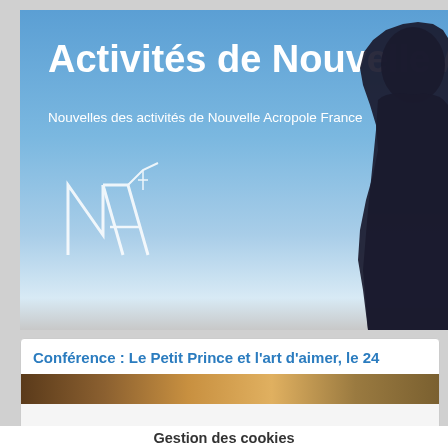[Figure (photo): Header banner with blue sky background, white bold title 'Activités de Nouvelle Ac' (cropped), subtitle 'Nouvelles des activités de Nouvelle Acropole France', NA logo in white on left, dark human silhouette on right]
Activités de Nouvelle Ac
Nouvelles des activités de Nouvelle Acropole France
Conférence : Le Petit Prince et l'art d'aimer, le 24
[Figure (photo): Partial interior photo with warm brown and gold tones, appears to be a conference or meeting room]
Gestion des cookies